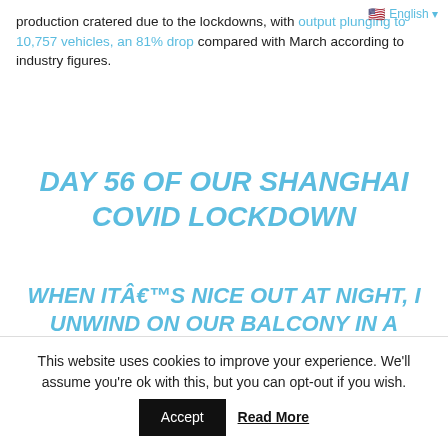production cratered due to the lockdowns, with output plunging to 10,757 vehicles, an 81% drop compared with March according to industry figures.
DAY 56 OF OUR SHANGHAI COVID LOCKDOWN
WHEN ITÂ€™S NICE OUT AT NIGHT, I UNWIND ON OUR BALCONY IN A ROCKING CHAIR MY AUNT GAVE ME WHEN OUR OLDEST WAS BORN
ITÂ€™S A FULL MOON TONIGHT AND SO
This website uses cookies to improve your experience. We'll assume you're ok with this, but you can opt-out if you wish.
Accept   Read More